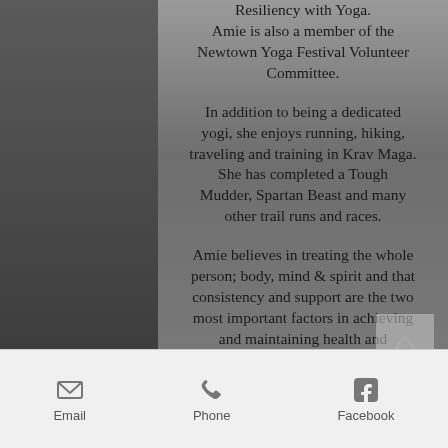Resiliency with Yoga. Amie is also a member of the Newtown Yoga Festival Volunteer Committee.
In addition to being a dedicated yogi, she enjoys running, hiking, traveling and training in Krav Maga. She has completed a Tough Mudder, Spartan Beast and many other trail runs and races.
Amie believes in treating the whole person; body, mind & spirit and that consistency and support are the two most important factors in achieving and maintaining health and happiness.
Video
Email  Phone  Facebook